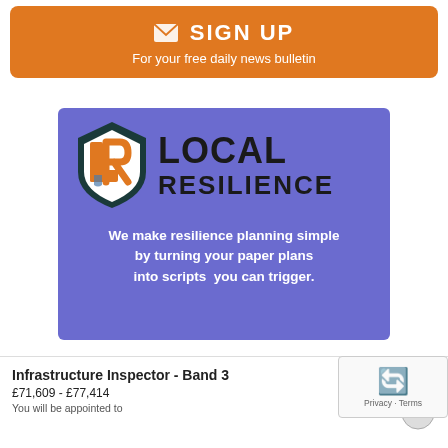[Figure (infographic): Orange sign up banner with envelope icon, bold white SIGN UP text, and subtitle 'For your free daily news bulletin']
[Figure (logo): Local Resilience advertisement with purple background, shield logo with LR letters, LOCAL RESILIENCE text, and tagline 'We make resilience planning simple by turning your paper plans into scripts you can trigger.']
Infrastructure Inspector - Band 3
£71,609 - £77,414
You will be appointed to